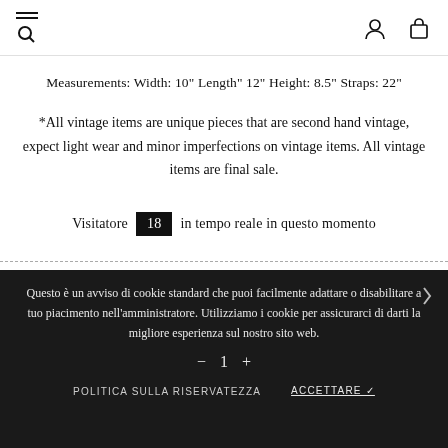Navigation header with hamburger menu, search, user, and cart icons
Measurements: Width: 10" Length" 12" Height: 8.5" Straps: 22"
*All vintage items are unique pieces that are second hand vintage, expect light wear and minor imperfections on vintage items. All vintage items are final sale.
Visitatore 18 in tempo reale in questo momento
Questo è un avviso di cookie standard che puoi facilmente adattare o disabilitare a tuo piacimento nell'amministratore. Utilizziamo i cookie per assicurarci di darti la migliore esperienza sul nostro sito web.
− 1 +
POLITICA SULLA RISERVATEZZA   ACCETTARE ✓